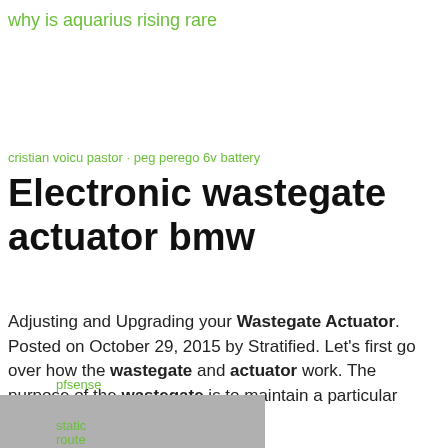why is aquarius rising rare
cristian voicu pastor · peg perego 6v battery
Electronic wastegate actuator bmw
Adjusting and Upgrading your Wastegate Actuator. Posted on October 29, 2015 by Stratified. Let's first go over how the wastegate and actuator work. The purpose of the wastegate is to maintain a particular boost
pfsense
static
route